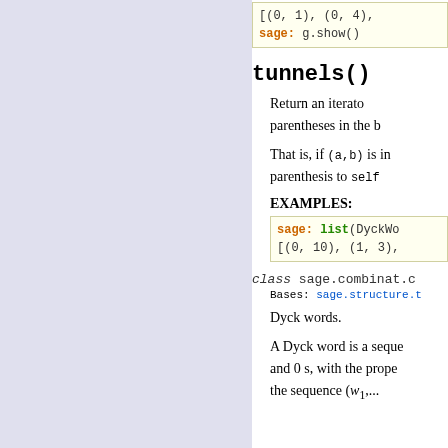[Figure (screenshot): Left sidebar with light purple/lavender background, navigation panel]
[(0, 1), (0, 4),
sage: g.show()
tunnels()
Return an iterator over the parentheses in the ...
That is, if (a,b) is in ... parenthesis to self...
EXAMPLES:
sage: list(DyckWo...
[(0, 10), (1, 3),
class sage.combinat.c...
Bases: sage.structure....
Dyck words.
A Dyck word is a seque... and 0 s, with the prope... the sequence (w1,...